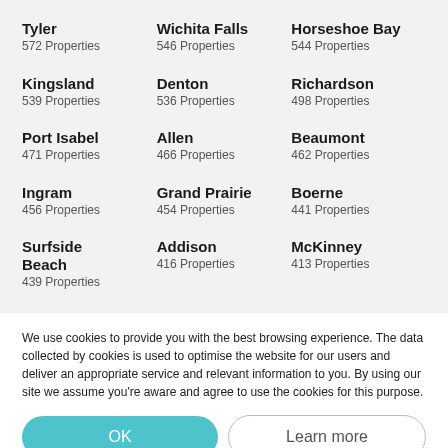Tyler
572 Properties
Wichita Falls
546 Properties
Horseshoe Bay
544 Properties
Kingsland
539 Properties
Denton
536 Properties
Richardson
498 Properties
Port Isabel
471 Properties
Allen
466 Properties
Beaumont
462 Properties
Ingram
456 Properties
Grand Prairie
454 Properties
Boerne
441 Properties
Surfside Beach
439 Properties
Addison
416 Properties
McKinney
413 Properties
We use cookies to provide you with the best browsing experience. The data collected by cookies is used to optimise the website for our users and deliver an appropriate service and relevant information to you. By using our site we assume you're aware and agree to use the cookies for this purpose.
OK
Learn more